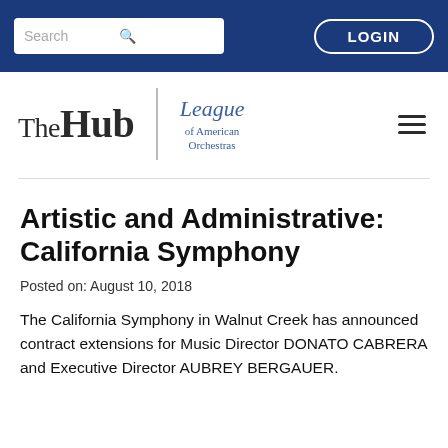Search | LOGIN
[Figure (logo): The Hub / League of American Orchestras logo with hamburger menu]
Artistic and Administrative: California Symphony
Posted on: August 10, 2018
The California Symphony in Walnut Creek has announced contract extensions for Music Director DONATO CABRERA and Executive Director AUBREY BERGAUER.